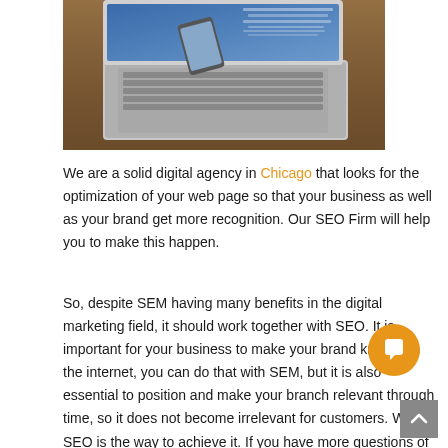[Figure (photo): Partial view of a laptop on a wooden desk, showing keyboard and screen partially visible. A smartphone is visible near the laptop. Warm, brownish tones.]
We are a solid digital agency in Chicago that looks for the optimization of your web page so that your business as well as your brand get more recognition. Our SEO Firm will help you to make this happen.
So, despite SEM having many benefits in the digital marketing field, it should work together with SEO. It is important for your business to make your brand known on the internet, you can do that with SEM, but it is also essential to position and make your branch relevant through time, so it does not become irrelevant for customers. With SEO is the way to achieve it. If you have more questions of how does search engine marketing work call us and we'll